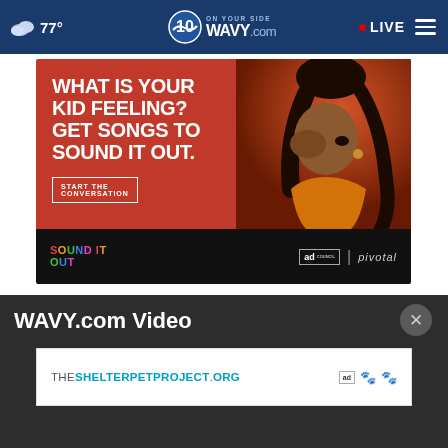77° WAVY.com ON YOUR SIDE 10 LIVE
[Figure (photo): Advertisement for 'Sound It Out' campaign by Ad Council and Pivotal Ventures. Red background with large white bold text reading 'WHAT IS YOUR KID FEELING? GET SONGS TO SOUND IT OUT.' with a 'START THE CONVERSATION' button. Photo of a teenage girl with braided hair covering one eye. Bottom black bar with 'SOUND IT OUT' colorful logo and Ad Council / Pivotal logos.]
WAVY.com Video
[Figure (photo): Advertisement banner for THESHELTERPETPROJECT.ORG shown in a white bar with Ad Council logos and sponsor logos on the right.]